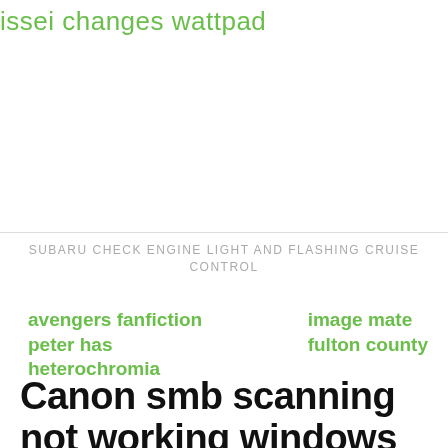issei changes wattpad
SUBARU CHECK ENGINE LIGHT AND FLASHING CRUISE CONTROL
avengers fanfiction peter has heterochromia
image mate fulton county
Canon smb scanning not working windows 10
System Environment for WSD Scan: Windows
40%
divorce